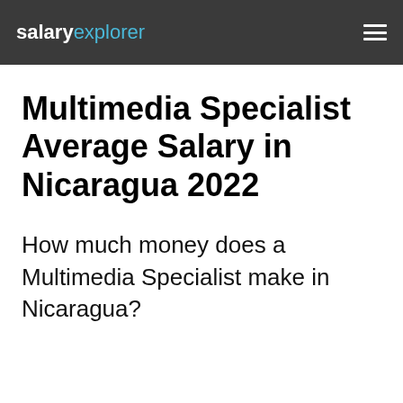salaryexplorer
Multimedia Specialist Average Salary in Nicaragua 2022
How much money does a Multimedia Specialist make in Nicaragua?